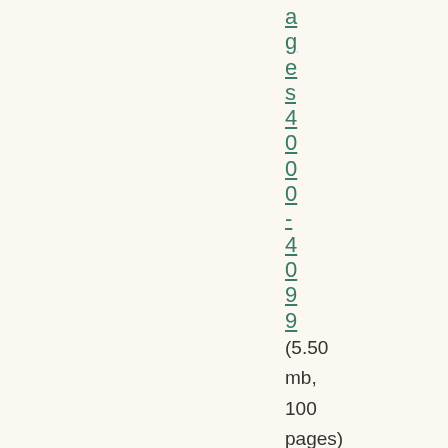ages 400-4099 (5.50 mb, 100 pages)